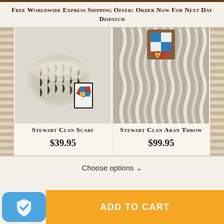Free Worldwide Express Shipping Offer: Order Now For Next Day Dispatch
[Figure (photo): Stewart Clan Scarf - rolled knit scarf in cream/grey with clan crest card]
Stewart Clan Scarf
$39.95
[Figure (photo): Stewart Clan Aran Throw - close-up of cable knit throw in cream/grey with heraldic shield badge]
Stewart Clan Aran Throw
$99.95
Choose options ∨
ADD TO CART